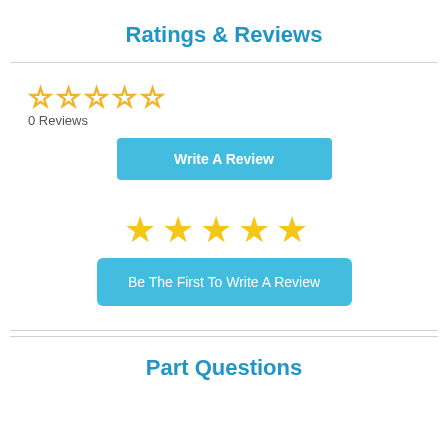Ratings & Reviews
[Figure (other): Five empty star rating icons in gold/yellow outline]
0 Reviews
[Figure (other): Write A Review button (light blue)]
[Figure (other): Five filled gold star rating icons]
[Figure (other): Be The First To Write A Review button (light blue)]
Part Questions